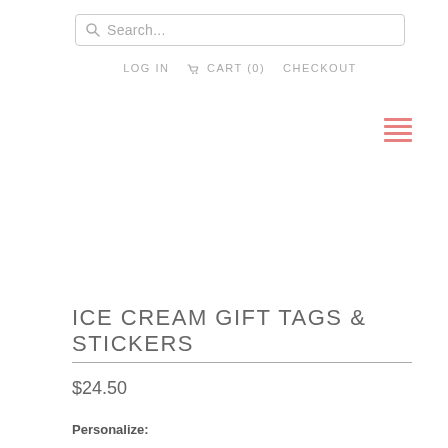[Figure (screenshot): Search bar with magnifying glass icon and placeholder text 'Search...']
LOG IN   CART (0)   CHECKOUT
[Figure (other): Hamburger menu icon with pink/salmon colored lines]
ICE CREAM GIFT TAGS & STICKERS
$24.50
Personalize: